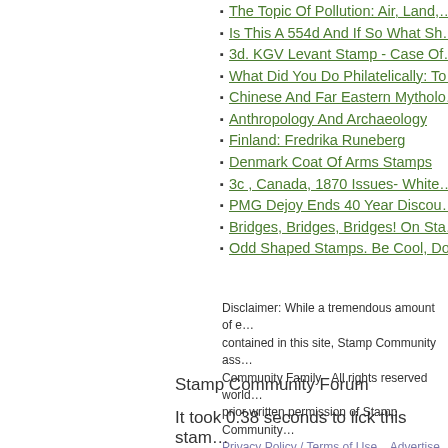The Topic Of Pollution: Air, Land,…
Is This A 554d And If So What Sh…
3d. KGV Levant Stamp - Case Of…
What Did You Do Philatelically: To…
Chinese And Far Eastern Mytholo…
Anthropology And Archaeology
Finland: Fredrika Runeberg
Denmark Coat Of Arms Stamps
3c , Canada, 1870 Issues- White…
PMG Dejoy Ends 40 Year Discou…
Bridges, Bridges, Bridges! On Sta…
Odd Shaped Stamps. Be Cool, Do…
Disclaimer: While a tremendous amount of e… contained in this site, Stamp Community ass… Community Family - All rights reserved world… prior written permission of Stamp Community…
Privacy Policy / Terms of Use    Advertise He…
Stamp Community Forum
It took 0.38 seconds to lick this stam…